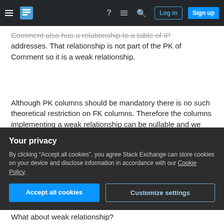Stack Exchange navigation bar with Log in and Sign up buttons
Comment also has a relationship to a table of IP addresses. That relationship is not part of the PK of Comment so it is a weak relationship.
Although PK columns should be mandatory there is no such theoretical restriction on FK columns. Therefore the columns implementing a weak relationship can be nullable and we cannot say, in general, whether there must be total participation over a weak relationship.
Share   edited Feb 16, 2020 at 11:29
Your privacy
By clicking “Accept all cookies”, you agree Stack Exchange can store cookies on your device and disclose information in accordance with our Cookie Policy.
Accept all cookies   Customize settings
What about weak relationship?